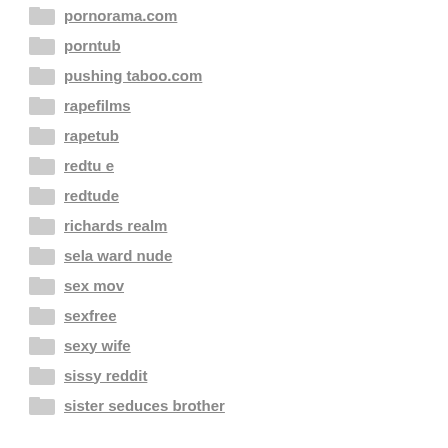pornorama.com
porntub
pushing taboo.com
rapefilms
rapetub
redtu e
redtude
richards realm
sela ward nude
sex mov
sexfree
sexy wife
sissy reddit
sister seduces brother